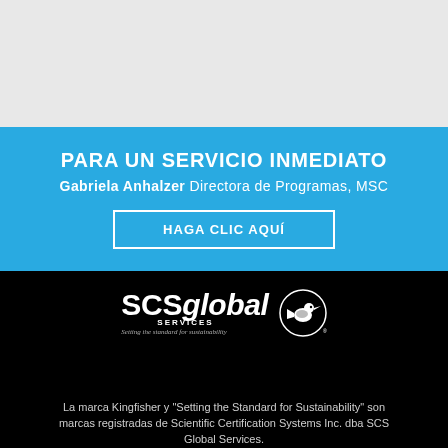[Figure (other): Gray background section at top of page]
PARA UN SERVICIO INMEDIATO
Gabriela Anhalzer Directora de Programas, MSC
HAGA CLIC AQUÍ
[Figure (logo): SCS Global Services logo with Kingfisher bird icon and tagline 'Setting the standard for sustainability']
La marca Kingfisher y "Setting the Standard for Sustainability" son marcas registradas de Scientific Certification Systems Inc. dba SCS Global Services.